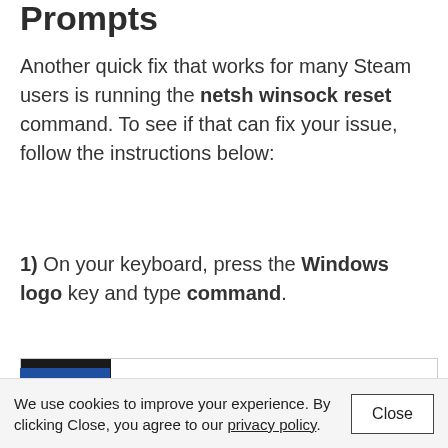Prompt
Another quick fix that works for many Steam users is running the netsh winsock reset command. To see if that can fix your issue, follow the instructions below:
1) On your keyboard, press the Windows logo key and type command.
[Figure (screenshot): Windows search bar screenshot showing tabs: All (active, with blue underline), Apps, Documents, Settings, Web. Left side shows black panel with hamburger menu icon. Blue block visible at bottom left.]
We use cookies to improve your experience. By clicking Close, you agree to our privacy policy.